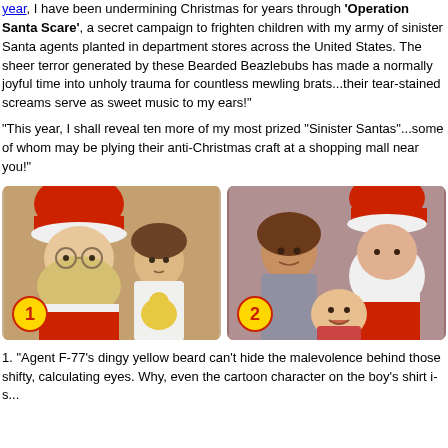year, I have been undermining Christmas for years through 'Operation Santa Scare', a secret campaign to frighten children with my army of sinister Santa agents planted in department stores across the United States. The sheer terror generated by these Bearded Beazlebubs has made a normally joyful time into unholy trauma for countless mewling brats...their tear-stained screams serve as sweet music to my ears!"
"This year, I shall reveal ten more of my most prized "Sinister Santas"...some of whom may be plying their anti-Christmas craft at a shopping mall near you!"
[Figure (photo): Photo of a Santa Claus with yellowish beard sitting next to a young boy holding a Winnie-the-Pooh toy. A yellow circle badge with '1' is in the lower left corner.]
[Figure (photo): Photo of a Santa Claus with a crying baby and an older child smiling. A yellow circle badge with '2' is in the lower left corner.]
1. "Agent F-77's dingy yellow beard can't hide the malevolence behind those shifty, calculating eyes. Why, even the cartoon character on the boy's shirt...